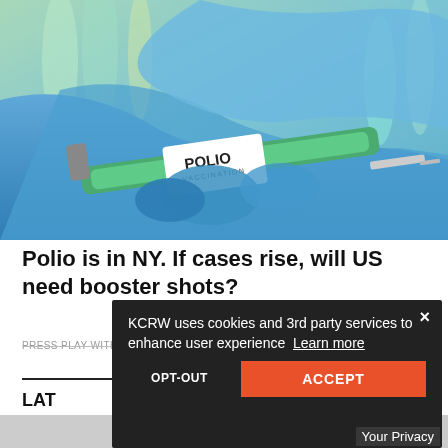[Figure (photo): Close-up photo of gloved hands holding a syringe labeled 'POLIO VACCINATION' with medical vials in background]
Polio is in NY. If cases rise, will US need booster shots?
PRESS PLAY WITH MADELEINE BRAND • MONDAY
LAT
[Figure (screenshot): Cookie consent overlay: 'KCRW uses cookies and 3rd party services to enhance user experience  Learn more' with OPT-OUT and ACCEPT buttons and an X close button. Bottom right shows 'Your Privacy' tab.]